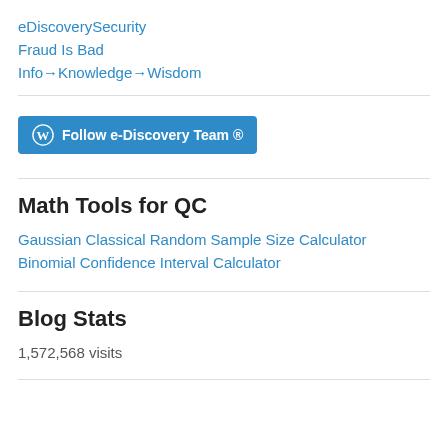eDiscoverySecurity
Fraud Is Bad
Info→Knowledge→Wisdom
[Figure (other): Follow e-Discovery Team WordPress follow button]
Math Tools for QC
Gaussian Classical Random Sample Size Calculator
Binomial Confidence Interval Calculator
Blog Stats
1,572,568 visits